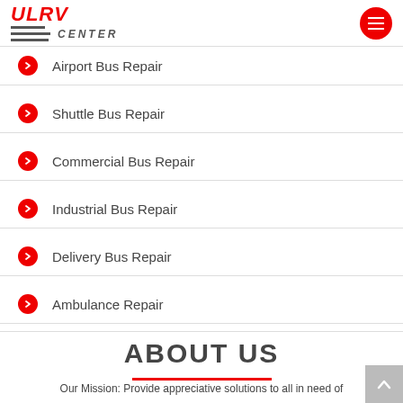ULRV CENTER
Airport Bus Repair
Shuttle Bus Repair
Commercial Bus Repair
Industrial Bus Repair
Delivery Bus Repair
Ambulance Repair
ABOUT US
Our Mission: Provide appreciative solutions to all in need of